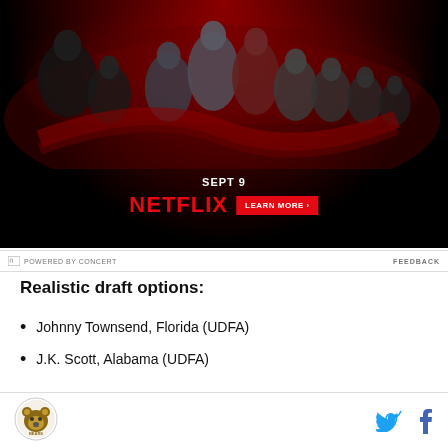[Figure (illustration): Netflix advertisement for Cobra Kai showing cast members against a dark red background with a snake motif. Text reads 'SEPT 9', 'NETFLIX', and 'LEARN MORE >' button.]
POWERED BY CONCERT | FEEDBACK
Realistic draft options:
Johnny Townsend, Florida (UDFA)
J.K. Scott, Alabama (UDFA)
Bear logo | Twitter icon | Facebook icon